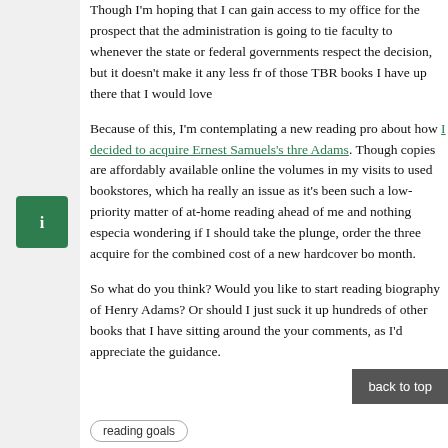Though I'm hoping that I can gain access to my office for the prospect that the administration is going to tie faculty to whenever the state or federal governments respect the decision, but it doesn't make it any less fr of those TBR books I have up there that I would love
Because of this, I'm contemplating a new reading pro about how I decided to acquire Ernest Samuels's three Adams. Though copies are affordably available online the volumes in my visits to used bookstores, which ha really an issue as it's been such a low-priority matter of at-home reading ahead of me and nothing especia wondering if I should take the plunge, order the three acquire for the combined cost of a new hardcover bo month.
So what do you think? Would you like to start reading biography of Henry Adams? Or should I just suck it up hundreds of other books that I have sitting around the your comments, as I'd appreciate the guidance.
back to top
reading goals